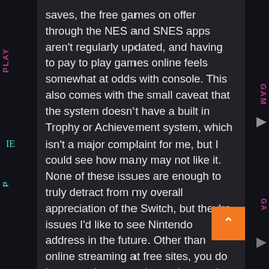saves, the free games on offer through the NES and SNES apps aren't regularly updated, and having to pay to play games online feels somewhat at odds with console. This also comes with the small caveat that the system doesn't have a built in Trophy or Achievement system, which isn't a major complaint for me, but I could see how many may not like it. None of these issues are enough to truly detract from my overall appreciation of the Switch, but they're issues I'd like to see Nintendo address in the future. Other than online streaming at free sites, you do have another attractive option – using PC satellite TV software. This software is not free, but for a price of less than $50, you can immediately tune into thousands of channels worldwide. Whether it is ESPN, EuroSports TV, GameSports TV, WHL TV, Fox Network, and Sport Star, you can always switch around and watch ABC...